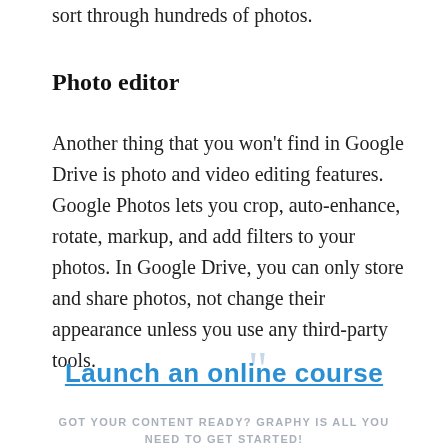sort through hundreds of photos.
Photo editor
Another thing that you won't find in Google Drive is photo and video editing features. Google Photos lets you crop, auto-enhance, rotate, markup, and add filters to your photos. In Google Drive, you can only store and share photos, not change their appearance unless you use any third-party tools.
Launch an online course
GOT YOUR CONTENT READY? GRAPHY IS ALL YOU NEED TO GET STARTED!